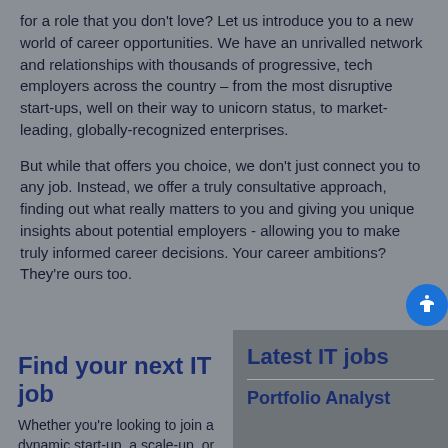for a role that you don't love? Let us introduce you to a new world of career opportunities. We have an unrivalled network and relationships with thousands of progressive, tech employers across the country – from the most disruptive start-ups, well on their way to unicorn status, to market-leading, globally-recognized enterprises.
But while that offers you choice, we don't just connect you to any job. Instead, we offer a truly consultative approach, finding out what really matters to you and giving you unique insights about potential employers - allowing you to make truly informed career decisions. Your career ambitions? They're ours too.
Find your next IT job
Whether you're looking to join a dynamic start-up, a scale-up, or a public sector
Latest IT jobs
Portfolio Analyst